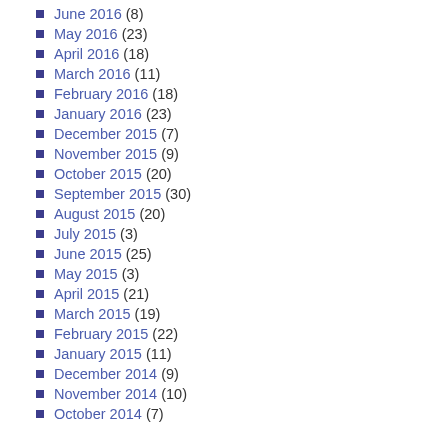June 2016 (8)
May 2016 (23)
April 2016 (18)
March 2016 (11)
February 2016 (18)
January 2016 (23)
December 2015 (7)
November 2015 (9)
October 2015 (20)
September 2015 (30)
August 2015 (20)
July 2015 (3)
June 2015 (25)
May 2015 (3)
April 2015 (21)
March 2015 (19)
February 2015 (22)
January 2015 (11)
December 2014 (9)
November 2014 (10)
October 2014 (7)